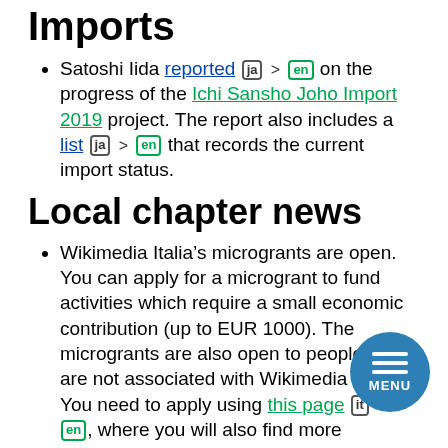Imports
Satoshi Iida reported [ja] > [en] on the progress of the Ichi Sansho Joho Import 2019 project. The report also includes a list [ja] > [en] that records the current import status.
Local chapter news
Wikimedia Italia’s microgrants are open. You can apply for a microgrant to fund activities which require a small economic contribution (up to EUR 1000). The microgrants are also open to people who are not associated with Wikimedia Italia. You need to apply using this page [it] > [en], where you will also find more information.
The Annual General Meeting of the OSM France association will take place [fr] > [en] online on Saturday, June 12 at 2:30 pm using BigBlueButton.